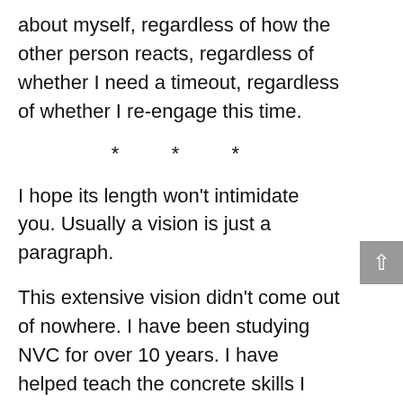about myself, regardless of how the other person reacts, regardless of whether I need a timeout, regardless of whether I re-engage this time.
* * *
I hope its length won’t intimidate you. Usually a vision is just a paragraph.
This extensive vision didn’t come out of nowhere. I have been studying NVC for over 10 years. I have helped teach the concrete skills I mention to dozens of people, in in-person intensives and in the Thinking Lab.